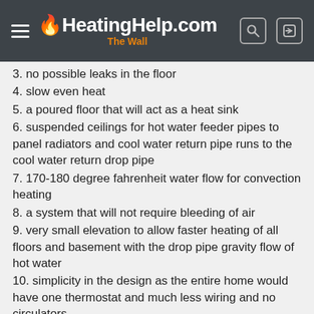HeatingHelp.com — The Wall
3. no possible leaks in the floor
4. slow even heat
5. a poured floor that will act as a heat sink
6. suspended ceilings for hot water feeder pipes to panel radiators and cool water return pipe runs to the cool water return drop pipe
7. 170-180 degree fahrenheit water flow for convection heating
8. a system that will not require bleeding of air
9. very small elevation to allow faster heating of all floors and basement with the drop pipe gravity flow of hot water
10. simplicity in the design as the entire home would have one thermostat and much less wiring and no circulators
11. greater first cost but lower cost of operation over the entire life span...